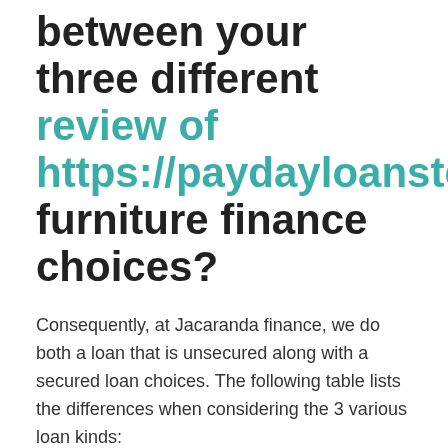between your three different review of https://paydayloanstexas furniture finance choices?
Consequently, at Jacaranda finance, we do both a loan that is unsecured along with a secured loan choices. The following table lists the differences when considering the 3 various loan kinds:
| Tiny unsecured loans | moderate guaranteed signature loans | big guaranteed loans that are |